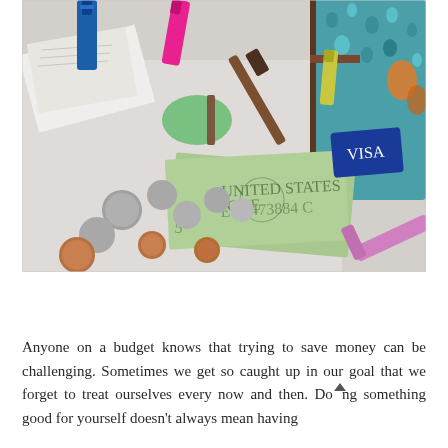[Figure (photo): Overhead photo of a purse/wallet contents spread out: dollar bills, coins, credit card (Visa), makeup items including nail polish (blue and pink bottles), a green sponge applicator, a brown mascara wand, a yellow-green tube, a pink/purple lip gloss, and a patterned clutch bag with teal/orange design, on a white background.]
Anyone on a budget knows that trying to save money can be challenging. Sometimes we get so caught up in our goal that we forget to treat ourselves every now and then. Doing something good for yourself doesn't always mean having